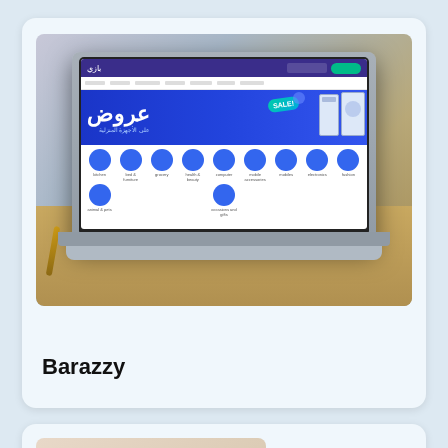[Figure (screenshot): A laptop computer on a wooden desk showing an Arabic e-commerce website (Barazzy) with a blue promotional banner showing Arabic text for deals on home appliances, and category circles below]
Barazzy
[Figure (photo): Partial view of a second card/item, showing a light beige/cream background, partially visible at the bottom of the page]